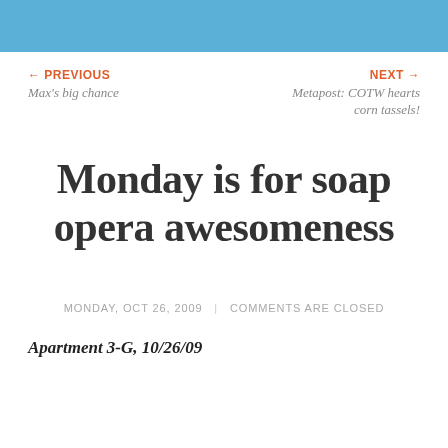← PREVIOUS
Max's big chance
NEXT →
Metapost: COTW hearts corn tassels!
Monday is for soap opera awesomeness
MONDAY, OCT 26, 2009 | COMMENTS ARE CLOSED
Apartment 3-G, 10/26/09